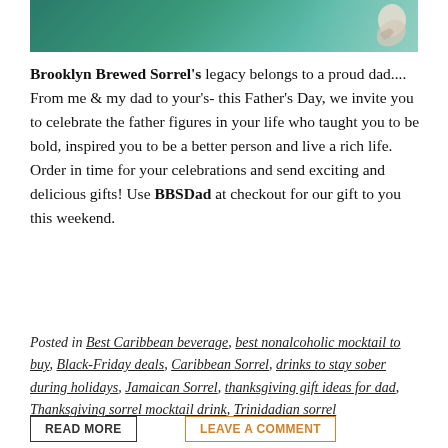[Figure (photo): Cropped top banner image showing a tropical green scene with a hand illustration cutout on the right side]
Brooklyn Brewed Sorrel's legacy belongs to a proud dad.... From me & my dad to your's- this Father's Day, we invite you to celebrate the father figures in your life who taught you to be bold, inspired you to be a better person and live a rich life. Order in time for your celebrations and send exciting and delicious gifts! Use BBSDad at checkout for our gift to you this weekend.
Posted in Best Caribbean beverage, best nonalcoholic mocktail to buy, Black-Friday deals, Caribbean Sorrel, drinks to stay sober during holidays, Jamaican Sorrel, thanksgiving gift ideas for dad, Thanksgiving sorrel mocktail drink, Trinidadian sorrel